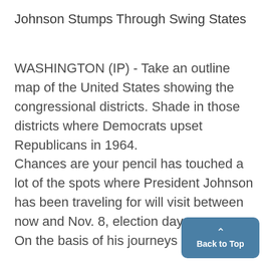Johnson Stumps Through Swing States
WASHINGTON (IP) - Take an outline map of the United States showing the congressional districts. Shade in those districts where Democrats upset Republicans in 1964.
Chances are your pencil has touched a lot of the spots where President Johnson has been traveling for will visit between now and Nov. 8, election day.
On the basis of his journeys
[Figure (other): Back to Top button with upward arrow caret, dark blue rounded rectangle]